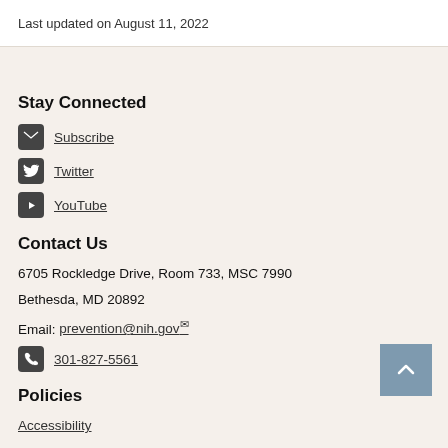Last updated on August 11, 2022
Stay Connected
Subscribe
Twitter
YouTube
Contact Us
6705 Rockledge Drive, Room 733, MSC 7990
Bethesda, MD 20892
Email: prevention@nih.gov
301-827-5561
Policies
Accessibility